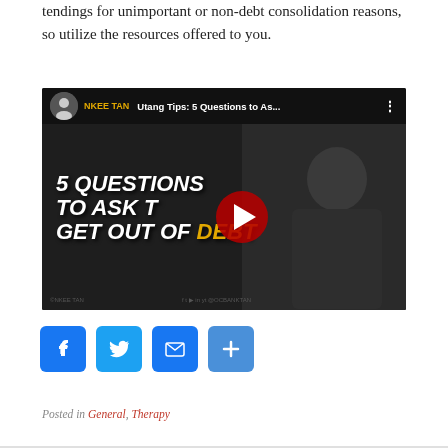tendings for unimportant or non-debt consolidation reasons, so utilize the resources offered to you.
[Figure (screenshot): YouTube video thumbnail for 'Utang Tips: 5 Questions to As...' by NKEE TAN channel. Video shows text '5 QUESTIONS TO ASK TO GET OUT OF DEBT' with a play button in the center and a person in background.]
[Figure (other): Row of social sharing buttons: Facebook, Twitter, Email, and More/Share]
Posted in General, Therapy